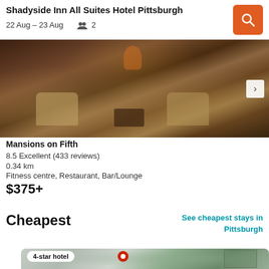Shadyside Inn All Suites Hotel Pittsburgh
22 Aug – 23 Aug  👥 2
Mansions on Fifth
8.5 Excellent (433 reviews)
0.34 km
Fitness centre, Restaurant, Bar/Lounge
$375+
Cheapest
See cheapest stays in Pittsburgh
4-star hotel